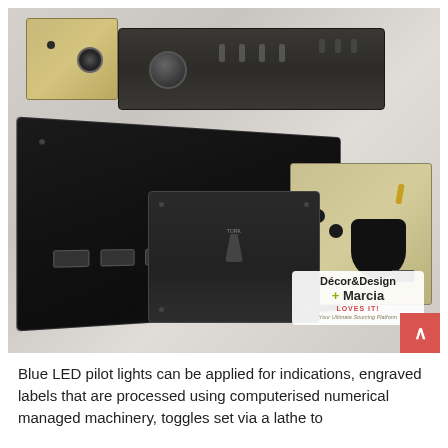[Figure (photo): Product collage of designer electrical switch plates and outlets in dark/matte black and brushed gold finishes, including dimmer switches, toggle switches, multi-gang plates, and power outlets. A 'Décor&Design + Marcia LOVES IT!' badge is visible in the lower right of the image.]
Blue LED pilot lights can be applied for indications, engraved labels that are processed using computerised numerical managed machinery, toggles set via a lathe to